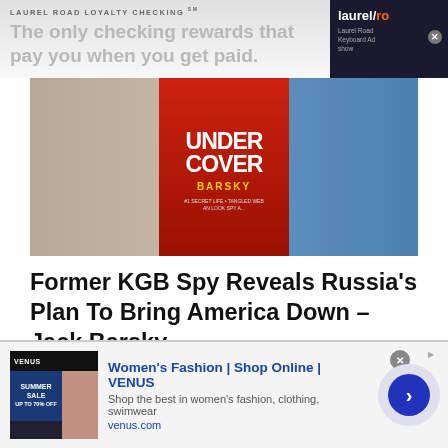[Figure (other): Laurel Road Loyalty Checking advertisement banner at top, with text 'The only checking rewards that pay you when you get paid.' and Laurel Road logo on right side.]
[Figure (photo): Hero image showing two men with a book cover overlay reading 'UNDER COVER' by Barsky in red and white text on a dark red background.]
Former KGB Spy Reveals Russia’s Plan To Bring America Down – Jack Barsky
9 months ago / Add comment / Valuetainment Media
We use cookies on our website to give you the most relevant experience by remembering your preferences and repeat visits. By clicking “Accept,” you consent to the use of ALL the
[Figure (other): Bottom advertisement for VENUS Women's Fashion. Shows 'Women's Fashion | Shop Online | VENUS' with 'Shop the best in women's fashion, clothing, swimwear' and 'venus.com'. Thumbnail shows Summer Sale imagery.]